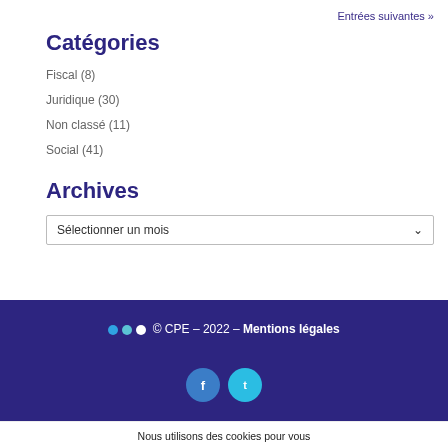Entrées suivantes »
Catégories
Fiscal (8)
Juridique (30)
Non classé (11)
Social (41)
Archives
Sélectionner un mois
© CPE – 2022 – Mentions légales
Nous utilisons des cookies pour vous